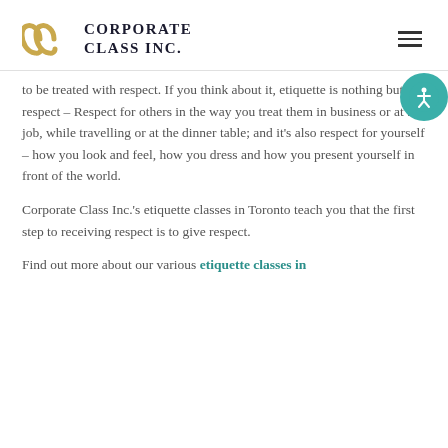[Figure (logo): Corporate Class Inc. logo with golden interlocking C shapes and company name in uppercase serif text]
to be treated with respect. If you think about it, etiquette is nothing but respect – Respect for others in the way you treat them in business or at the job, while travelling or at the dinner table; and it's also respect for yourself – how you look and feel, how you dress and how you present yourself in front of the world.
Corporate Class Inc.'s etiquette classes in Toronto teach you that the first step to receiving respect is to give respect.
Find out more about our various etiquette classes in